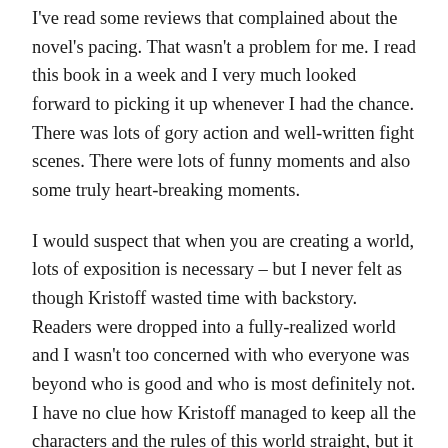I've read some reviews that complained about the novel's pacing. That wasn't a problem for me. I read this book in a week and I very much looked forward to picking it up whenever I had the chance. There was lots of gory action and well-written fight scenes. There were lots of funny moments and also some truly heart-breaking moments.
I would suspect that when you are creating a world, lots of exposition is necessary – but I never felt as though Kristoff wasted time with backstory. Readers were dropped into a fully-realized world and I wasn't too concerned with who everyone was beyond who is good and who is most definitely not. I have no clue how Kristoff managed to keep all the characters and the rules of this world straight, but it felt like a real enough place to me.